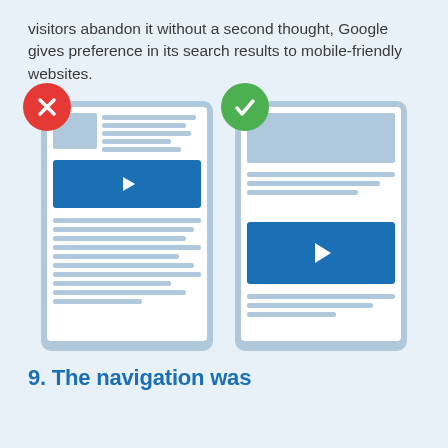visitors abandon it without a second thought, Google gives preference in its search results to mobile-friendly websites.
[Figure (infographic): Two smartphone mockups side by side. Left mockup has a red X badge (non-mobile-friendly) showing a small image and lots of tiny text with a video player. Right mockup has a green checkmark badge (mobile-friendly) showing a larger image, fewer lines of text, and a larger video player.]
9. The navigation was